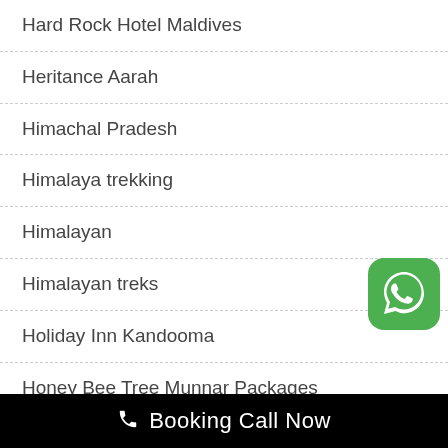Hard Rock Hotel Maldives
Heritance Aarah
Himachal Pradesh
Himalaya trekking
Himalayan
Himalayan treks
Holiday Inn Kandooma
Honey Bee Tree Munnar Packages
[Figure (logo): WhatsApp green rounded square icon with white phone handset inside speech bubble]
Booking Call Now